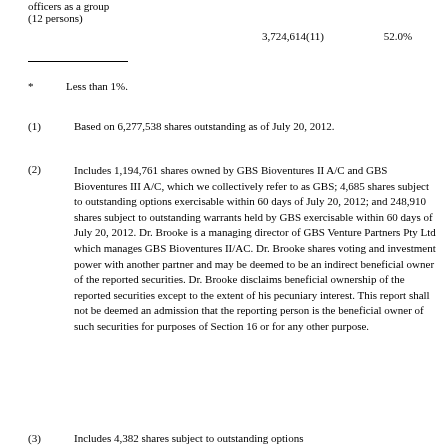officers as a group (12 persons)
3,724,614(11)    52.0%
* Less than 1%.
(1) Based on 6,277,538 shares outstanding as of July 20, 2012.
(2) Includes 1,194,761 shares owned by GBS Bioventures II A/C and GBS Bioventures III A/C, which we collectively refer to as GBS; 4,685 shares subject to outstanding options exercisable within 60 days of July 20, 2012; and 248,910 shares subject to outstanding warrants held by GBS exercisable within 60 days of July 20, 2012. Dr. Brooke is a managing director of GBS Venture Partners Pty Ltd which manages GBS Bioventures II/AC. Dr. Brooke shares voting and investment power with another partner and may be deemed to be an indirect beneficial owner of the reported securities. Dr. Brooke disclaims beneficial ownership of the reported securities except to the extent of his pecuniary interest. This report shall not be deemed an admission that the reporting person is the beneficial owner of such securities for purposes of Section 16 or for any other purpose.
(3) Includes 4,382 shares subject to outstanding options